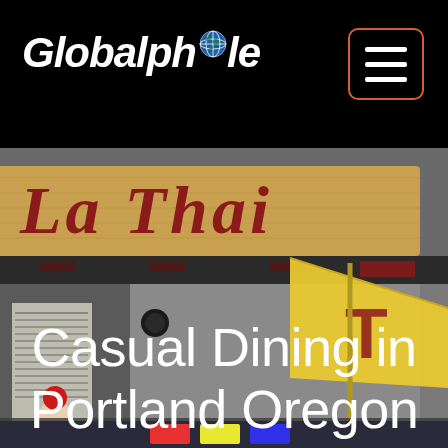Globalphile
[Figure (photo): A Thai food cart/truck with a wooden sign reading 'La Thai' in large red letters, a yellow umbrella with red letters visible, and a food cart interior visible. Street food scene in Portland, Oregon.]
Casual Dining in Portland Oregon